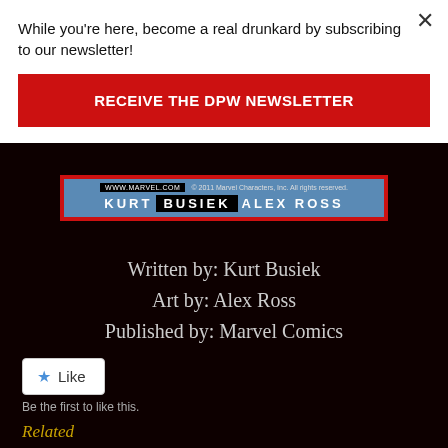While you're here, become a real drunkard by subscribing to our newsletter!
RECEIVE THE DPW NEWSLETTER
[Figure (illustration): Comic book banner strip showing WWW.MARVEL.COM © 2011 Marvel Characters, Inc. All rights reserved. KURT BUSIEK ALEX ROSS on a blue background with red border]
Written by: Kurt Busiek
Art by: Alex Ross
Published by: Marvel Comics
Like
Be the first to like this.
Related